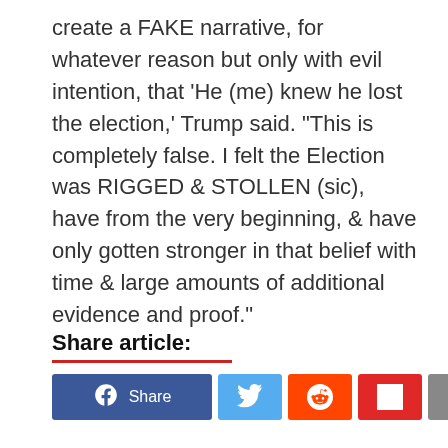create a FAKE narrative, for whatever reason but only with evil intention, that 'He (me) knew he lost the election,' Trump said. "This is completely false. I felt the Election was RIGGED & STOLLEN (sic), have from the very beginning, & have only gotten stronger in that belief with time & large amounts of additional evidence and proof."
Share article:
[Figure (other): Social sharing buttons: Facebook Share, Twitter, Reddit, Flipboard, Email]